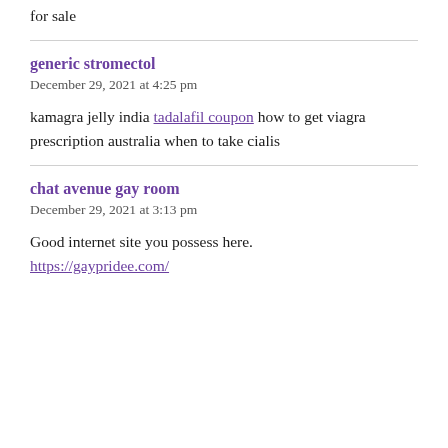for sale
generic stromectol
December 29, 2021 at 4:25 pm
kamagra jelly india tadalafil coupon how to get viagra prescription australia when to take cialis
chat avenue gay room
December 29, 2021 at 3:13 pm
Good internet site you possess here. https://gaypridee.com/